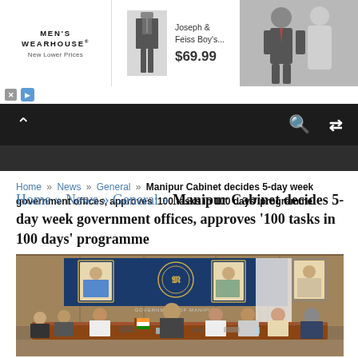[Figure (screenshot): Men's Wearhouse advertisement banner showing brand logo, suit product photo, 'Joseph & Feiss Boy's...' label, price $69.99, and a couple in formalwear]
[Figure (screenshot): Dark navigation bar with up arrow, search icon, and shuffle/random icon]
Home » News » General » Manipur Cabinet decides 5-day week government offices, approves '100 tasks in 100 days' programme
Manipur Cabinet decides 5-day week government offices, approves '100 tasks in 100 days' programme
[Figure (photo): Government of Manipur cabinet meeting room with officials seated around a conference table; blue banner behind showing portraits and Government of Manipur emblem]